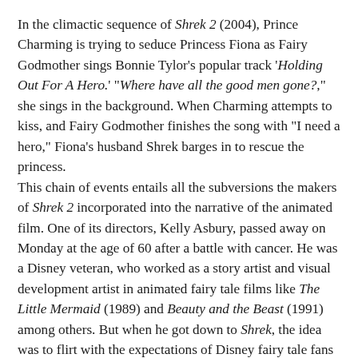In the climactic sequence of Shrek 2 (2004), Prince Charming is trying to seduce Princess Fiona as Fairy Godmother sings Bonnie Tylor's popular track 'Holding Out For A Hero.' "Where have all the good men gone?," she sings in the background. When Charming attempts to kiss, and Fairy Godmother finishes the song with "I need a hero," Fiona's husband Shrek barges in to rescue the princess.
This chain of events entails all the subversions the makers of Shrek 2 incorporated into the narrative of the animated film. One of its directors, Kelly Asbury, passed away on Monday at the age of 60 after a battle with cancer. He was a Disney veteran, who worked as a story artist and visual development artist in animated fairy tale films like The Little Mermaid (1989) and Beauty and the Beast (1991) among others. But when he got down to Shrek, the idea was to flirt with the expectations of Disney fairy tale fans and turn the tropes from those stories on their heads.